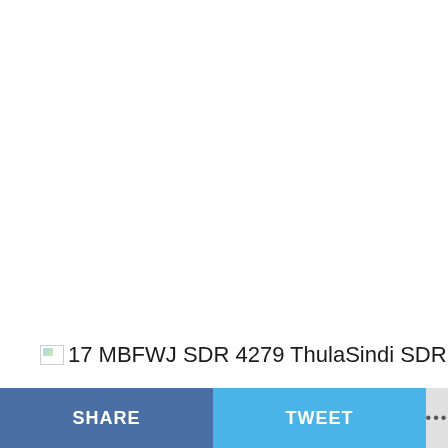[Figure (photo): Broken image placeholder icon followed by caption text: 17 MBFWJ SDR 4279 ThulaSindi SDR]
SHARE   TWEET   ...